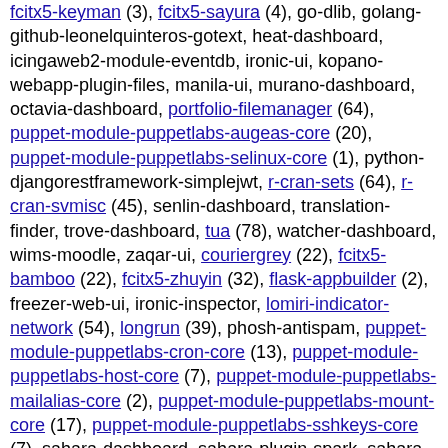fcitx5-keyman (3), fcitx5-sayura (4), go-dlib, golang-github-leonelquinteros-gotext, heat-dashboard, icingaweb2-module-eventdb, ironic-ui, kopano-webapp-plugin-files, manila-ui, murano-dashboard, octavia-dashboard, portfolio-filemanager (64), puppet-module-puppetlabs-augeas-core (20), puppet-module-puppetlabs-selinux-core (1), python-djangorestframework-simplejwt, r-cran-sets (64), r-cran-svmisc (45), senlin-dashboard, translation-finder, trove-dashboard, tua (78), watcher-dashboard, wims-moodle, zaqar-ui, couriergrey (22), fcitx5-bamboo (22), fcitx5-zhuyin (32), flask-appbuilder (2), freezer-web-ui, ironic-inspector, lomiri-indicator-network (54), longrun (39), phosh-antispam, puppet-module-puppetlabs-cron-core (13), puppet-module-puppetlabs-host-core (7), puppet-module-puppetlabs-mailalias-core (2), puppet-module-puppetlabs-mount-core (17), puppet-module-puppetlabs-sshkeys-core (7), sahara-dashboard, sahara-plugin-spark, sahara-plugin-vanilla, vdr-plugin-infosatepg, vvmplayer, watcher, zaqar, icingaweb2-module-toplevelview, ippsample (4016), ncbi-igblast,